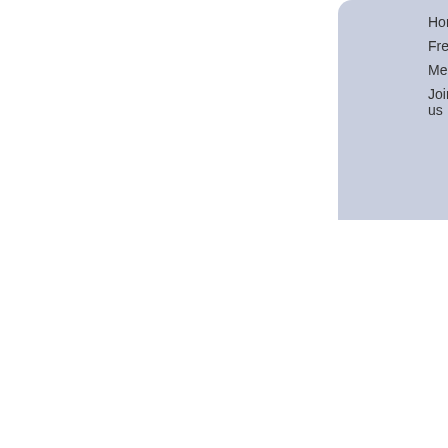Home  What's New?  About  Free Resources  Groups  Members Only  Site Map  Contact  Join us
history of it.
Wendy Carlisle: Do you trust your doctor now?
Tim Ritchie: I trust that she makes the best call she can on the